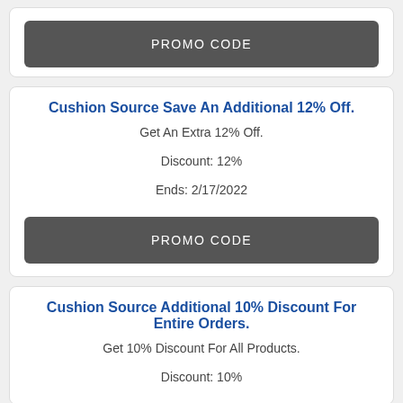PROMO CODE
Cushion Source Save An Additional 12% Off.
Get An Extra 12% Off.
Discount: 12%
Ends: 2/17/2022
PROMO CODE
Cushion Source Additional 10% Discount For Entire Orders.
Get 10% Discount For All Products.
Discount: 10%